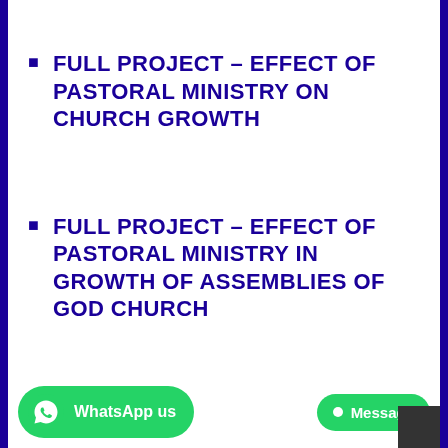FULL PROJECT – EFFECT OF PASTORAL MINISTRY ON CHURCH GROWTH
FULL PROJECT – EFFECT OF PASTORAL MINISTRY IN GROWTH OF ASSEMBLIES OF GOD CHURCH
FULL PROJECT – EFFECT OF NIGERIAN FILMS ON CHRISTIAN YOUTHS IN PENTECOSTAL